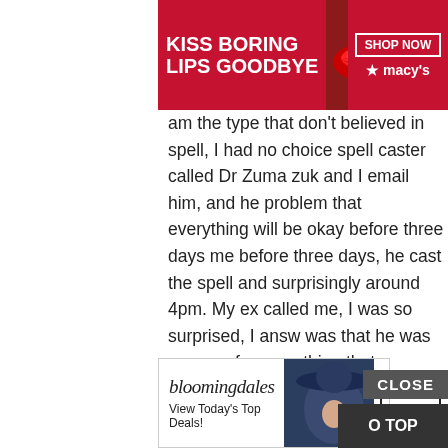[Figure (screenshot): Macy's advertisement banner: red background with 'KISS BORING LIPS GOODBYE' text, woman with red lips, SHOP NOW button and Macy's star logo]
am the type that don't believed in spell, I had no choice spell caster called Dr Zuma zuk and I email him, and he problem that everything will be okay before three days me before three days, he cast the spell and surprisingly around 4pm. My ex called me, I was so surprised, I answ was that he was so sorry for everything that happened return to him, that he loves me so much. I was so happy how we started living together happily again. Since the anybody I know that have a relationship problem, I wou by referring him or her to the only real and powerful sp with my own problem and who is different from all the Anybody could need the help of the spell caster, his em spiritualherbalisthealing@gmail.com or WhatsApp him + you can email him if you need his assistance in your rela CONTACT HIM NOW FOR SOLUTION TO ALL YOUR P
meone or me cast a
May 12, 2021 at 3:10 PM
[Figure (screenshot): CLOSE button overlay (dark gray)]
[Figure (screenshot): Bloomingdale's advertisement banner: logo, 'View Today's Top Deals!', woman in blue hat, SHOP NOW button]
[Figure (screenshot): TO TOP button (dark)]